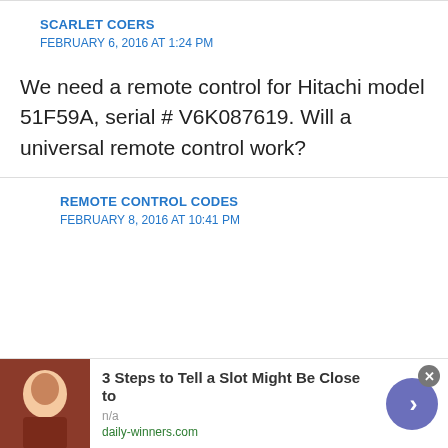SCARLET COERS
FEBRUARY 6, 2016 AT 1:24 PM
We need a remote control for Hitachi model 51F59A, serial # V6K087619. Will a universal remote control work?
REMOTE CONTROL CODES
FEBRUARY 8, 2016 AT 10:41 PM
3 Steps to Tell a Slot Might Be Close to
n/a
daily-winners.com